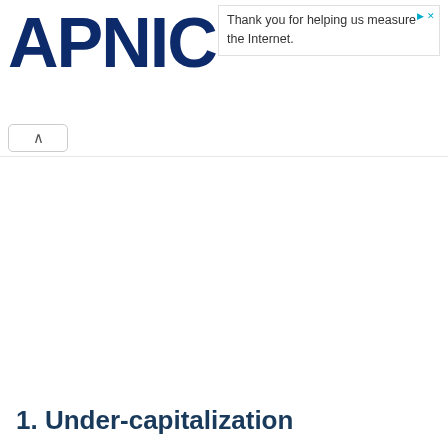APNIC
Thank you for helping us measure the Internet.
1. Under-capitalization